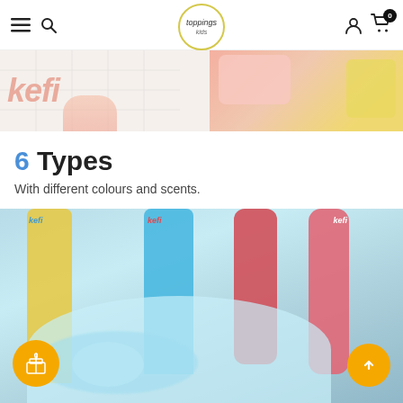toppings kids — navigation header with hamburger, search, logo, account and cart icons
[Figure (photo): Close-up photo showing hands writing 'kefi' on a white surface on the left, and colourful textured materials (pink, yellow) on the right]
6 Types
With different colours and scents.
[Figure (photo): Photo of multiple Kefii bubble cleaner product bottles (yellow, blue, pink) with blue foam bubbles in a white bowl in foreground, gift button and scroll-up button visible]